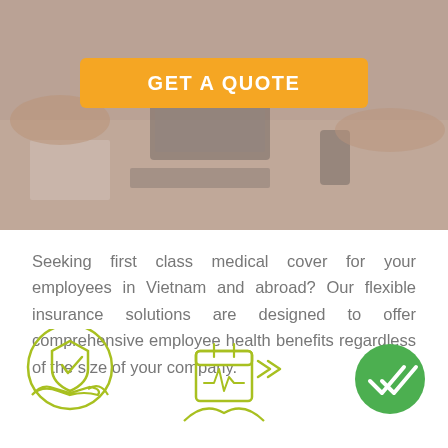[Figure (photo): Background photo of a desk with laptops, phones, and hands, partially dimmed, with an orange GET A QUOTE button overlay]
Seeking first class medical cover for your employees in Vietnam and abroad? Our flexible insurance solutions are designed to offer comprehensive employee health benefits regardless of the size of your company.
[Figure (illustration): Three icons: a hands holding a shield with checkmark (green outline), a calendar/health chart with arrow icon (yellow-green outline), and a green circle with double checkmark]